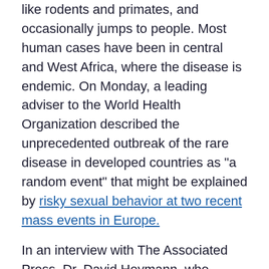like rodents and primates, and occasionally jumps to people. Most human cases have been in central and West Africa, where the disease is endemic. On Monday, a leading adviser to the World Health Organization described the unprecedented outbreak of the rare disease in developed countries as "a random event" that might be explained by risky sexual behavior at two recent mass events in Europe.
In an interview with The Associated Press, Dr. David Heymann, who formerly headed WHO's emergencies department, said the leading theory to explain the spread of the disease was sexual transmission among gay and bisexual men at two raves held in Spain and Belgium.
RELATED: 2nd presumptive case of monkeypox